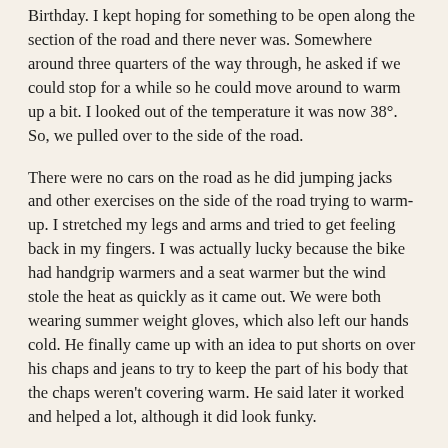Birthday. I kept hoping for something to be open along the section of the road and there never was. Somewhere around three quarters of the way through, he asked if we could stop for a while so he could move around to warm up a bit. I looked out of the temperature it was now 38°. So, we pulled over to the side of the road.
There were no cars on the road as he did jumping jacks and other exercises on the side of the road trying to warm-up. I stretched my legs and arms and tried to get feeling back in my fingers. I was actually lucky because the bike had handgrip warmers and a seat warmer but the wind stole the heat as quickly as it came out. We were both wearing summer weight gloves, which also left our hands cold. He finally came up with an idea to put shorts on over his chaps and jeans to try to keep the part of his body that the chaps weren't covering warm. He said later it worked and helped a lot, although it did look funky.
We jumped back on the bikes and continued to ride. The road itself was very smooth and nicely laid out, the curves were wide and easy to navigate. It was actually fun riding except for the cold. Finally, the miles ticked away and we entered Mackinaw City. The